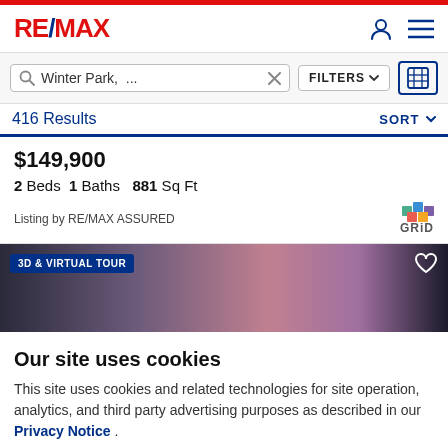RE/MAX
Winter Park, ...  FILTERS
416 Results  SORT
$149,900
2 Beds  1 Baths  881 Sq Ft
Listing by RE/MAX ASSURED
[Figure (photo): Property exterior photo with pink/purple sunset sky and trees, with '3D & VIRTUAL TOUR' badge and heart icon]
Our site uses cookies
This site uses cookies and related technologies for site operation, analytics, and third party advertising purposes as described in our Privacy Notice .
ACCEPT